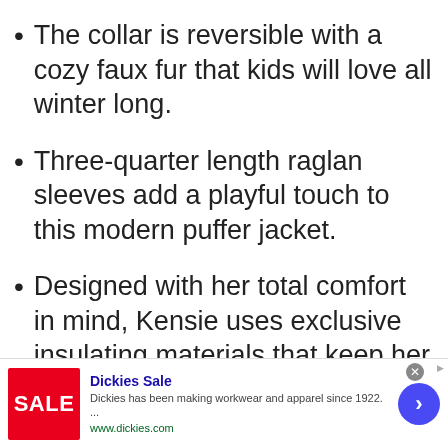The collar is reversible with a cozy faux fur that kids will love all winter long.
Three-quarter length raglan sleeves add a playful touch to this modern puffer jacket.
Designed with her total comfort in mind, Kensie uses exclusive insulating materials that keep her warm and dry while she’s on the move through snow or sleet
Dickies Sale
Dickies has been making workwear and apparel since 1922.
...
www.dickies.com